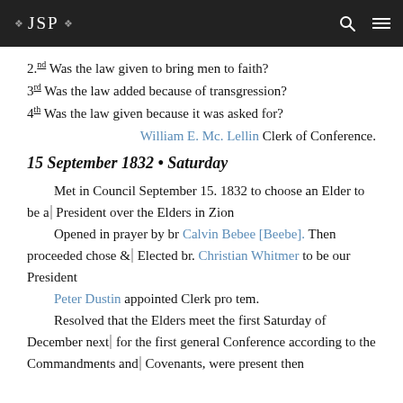❖ JSP ❖
2.nd Was the law given to bring men to faith?
3rd Was the law added because of transgression?
4th Was the law given because it was asked for?
William E. Mc. Lellin Clerk of Conference.
15 September 1832 • Saturday
Met in Council September 15. 1832 to choose an Elder to be a President over the Elders in Zion
    Opened in prayer by br Calvin Bebee [Beebe]. Then proceeded chose & Elected br. Christian Whitmer to be our President
    Peter Dustin appointed Clerk pro tem.
    Resolved that the Elders meet the first Saturday of December next for the first general Conference according to the Commandments and Covenants, were present then